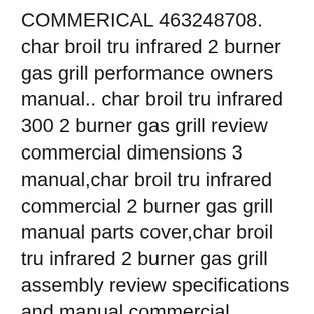COMMERICAL 463248708. char broil tru infrared 2 burner gas grill performance owners manual.. char broil tru infrared 300 2 burner gas grill review commercial dimensions 3 manual,char broil tru infrared commercial 2 burner gas grill manual parts cover,char broil tru infrared 2 burner gas grill assembly review specifications and manual commercial dimensions,char broil tru infrared 2 burner commercial gas grill review
Home > Charbroil Grill Models > Charbroil 463252205 Char-Broil Commercial Series 4-Burner LP gas grill with side burner To help insure that you get the correct replacement parts for